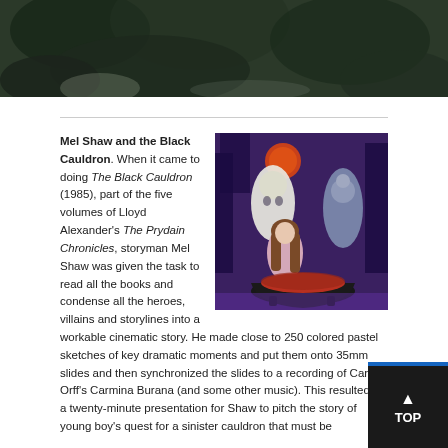[Figure (photo): A dark, blurred close-up image of foliage or natural textures, appears at the very top of the page, cropped.]
Mel Shaw and the Black Cauldron. When it came to doing The Black Cauldron (1985), part of the five volumes of Lloyd Alexander's The Prydain Chronicles, storyman Mel Shaw was given the task to read all the books and condense all the heroes, villains and storylines into a workable cinematic story. He made close to 250 colored pastel sketches of key dramatic moments and put them onto 35mm slides and then synchronized the slides to a recording of Carl Orff's Carmina Burana (and some other music). This resulted in a twenty-minute presentation for Shaw to pitch the story of young boy's quest for a sinister cauldron that must be
[Figure (illustration): An illustration showing characters around a large black cauldron. Figures include a girl with long brown hair in a pink dress and ghostly white-robed figures hovering above the cauldron, with a red moon visible in the background among purple/dark trees.]